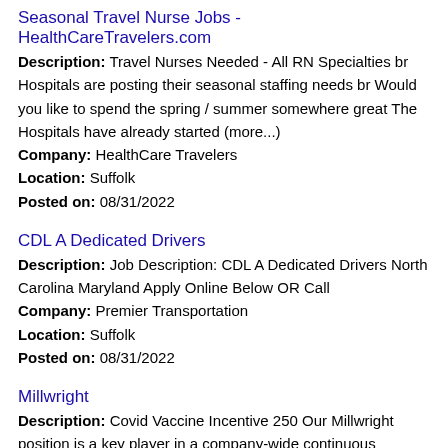Seasonal Travel Nurse Jobs - HealthCareTravelers.com
Description: Travel Nurses Needed - All RN Specialties br Hospitals are posting their seasonal staffing needs br Would you like to spend the spring / summer somewhere great The Hospitals have already started (more...)
Company: HealthCare Travelers
Location: Suffolk
Posted on: 08/31/2022
CDL A Dedicated Drivers
Description: Job Description: CDL A Dedicated Drivers North Carolina Maryland Apply Online Below OR Call
Company: Premier Transportation
Location: Suffolk
Posted on: 08/31/2022
Millwright
Description: Covid Vaccine Incentive 250 Our Millwright position is a key player in a company-wide continuous improvement effort through daily use of troubleshooting, and predictive and preventative maintenance (more...)
Company: West Fraser
Location: Branchville